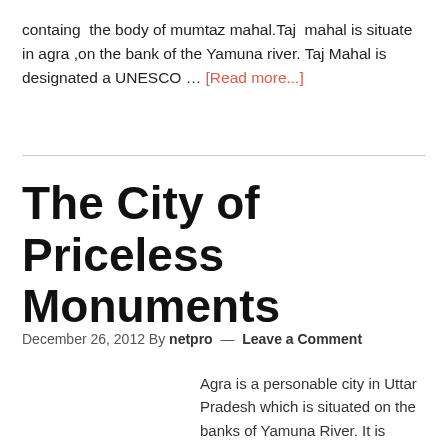containg the body of mumtaz mahal.Taj mahal is situate in agra ,on the bank of the Yamuna river. Taj Mahal is designated a UNESCO … [Read more...]
The City of Priceless Monuments
December 26, 2012 By netpro — Leave a Comment
Agra is a personable city in Uttar Pradesh which is situated on the banks of Yamuna River. It is approx 215 km from Delhi (national capital) and well